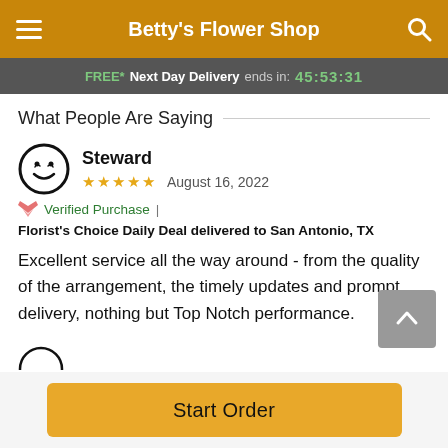Betty's Flower Shop
FREE* Next Day Delivery ends in: 45:53:31
What People Are Saying
Steward
★★★★★ August 16, 2022
Verified Purchase | Florist's Choice Daily Deal delivered to San Antonio, TX
Excellent service all the way around - from the quality of the arrangement, the timely updates and prompt delivery, nothing but Top Notch performance.
Start Order